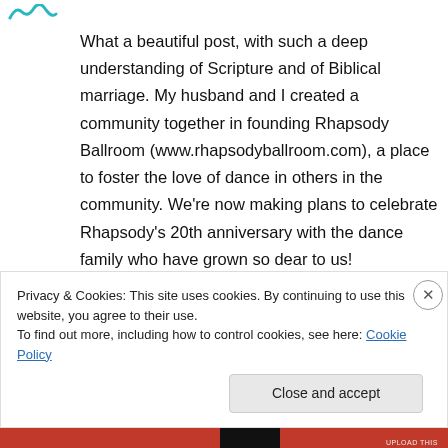[Figure (logo): Small teal/cyan logo mark in top left corner]
What a beautiful post, with such a deep understanding of Scripture and of Biblical marriage. My husband and I created a community together in founding Rhapsody Ballroom (www.rhapsodyballroom.com), a place to foster the love of dance in others in the community. We’re now making plans to celebrate Rhapsody’s 20th anniversary with the dance family who have grown so dear to us!
Reply
Privacy & Cookies: This site uses cookies. By continuing to use this website, you agree to their use.
To find out more, including how to control cookies, see here: Cookie Policy
Close and accept